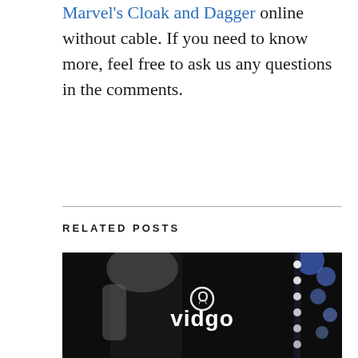Marvel's Cloak and Dagger online without cable. If you need to know more, feel free to ask us any questions in the comments.
RELATED POSTS
[Figure (photo): Dark concert/performance photo with Vidgo logo overlay — person on stage with bright stage lights and guitar neck visible, white Vidgo logo with icon centered on image]